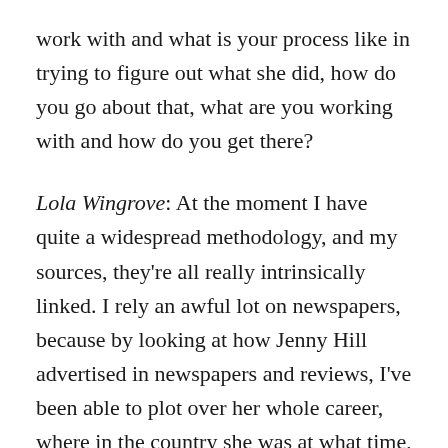work with and what is your process like in trying to figure out what she did, how do you go about that, what are you working with and how do you get there?
Lola Wingrove: At the moment I have quite a widespread methodology, and my sources, they're all really intrinsically linked. I rely an awful lot on newspapers, because by looking at how Jenny Hill advertised in newspapers and reviews, I've been able to plot over her whole career, where in the country she was at what time, what kind of performances she was giving, what songs she was performing in what halls at what time, a little bit [about] how successfully